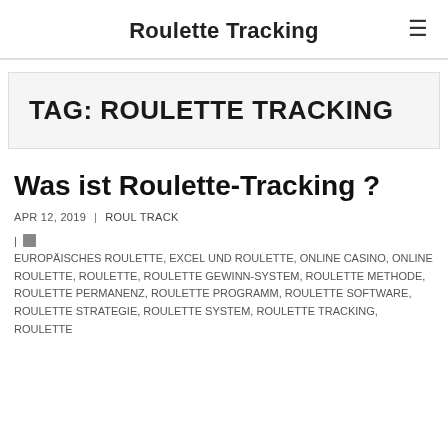Roulette Tracking
TAG: ROULETTE TRACKING
Was ist Roulette-Tracking ?
APR 12, 2019  |  ROUL TRACK
| EUROPÄISCHES ROULETTE, EXCEL UND ROULETTE, ONLINE CASINO, ONLINE ROULETTE, ROULETTE, ROULETTE GEWINN-SYSTEM, ROULETTE METHODE, ROULETTE PERMANENZ, ROULETTE PROGRAMM, ROULETTE SOFTWARE, ROULETTE STRATEGIE, ROULETTE SYSTEM, ROULETTE TRACKING, ROULETTE